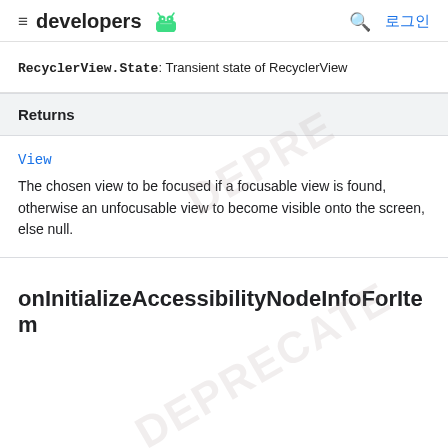≡ developers 🤖  🔍 로그인
RecyclerView.State: Transient state of RecyclerView
| Returns |
| --- |
| View | The chosen view to be focused if a focusable view is found, otherwise an unfocusable view to become visible onto the screen, else null. |
onInitializeAccessibilityNodeInfoForItem